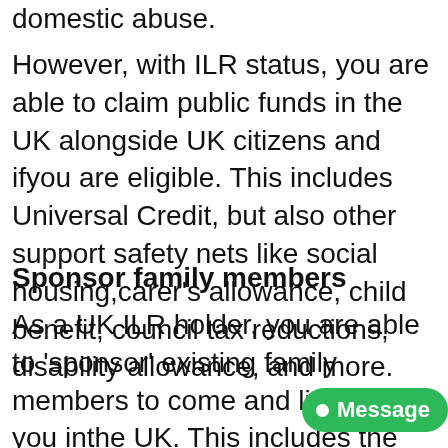domestic abuse.
However, with ILR status, you are able to claim public funds in the UK alongside UK citizens and ifyou are eligible. This includes Universal Credit, but also other support safety nets like social housing,carer’s allowance, child benefit, council tax reductions, disability allowance, and more.
Sponsor family members
As a UK ILR holder, you are able to ‘sponsor’ existing family members to come and live with you inthe UK. This includes the Spouse Visa and all other forms of Family Visas. Being able to ‘sponsor’loved ones for the purpose of immigration is considered one of the main benefits of ILR.